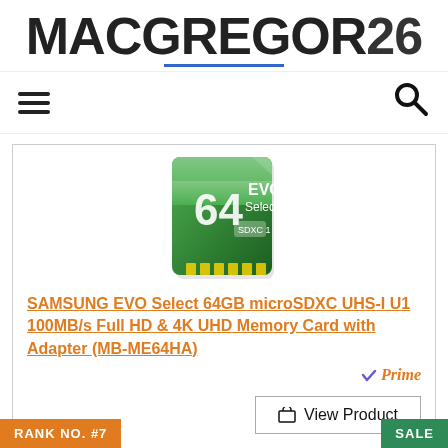[Figure (logo): MACGREGOR26 website logo in large bold black text with blue underline accent]
[Figure (illustration): Navigation bar with hamburger menu icon on the left and search magnifying glass icon on the right]
[Figure (photo): Samsung EVO Select 64GB microSD card product photo on white background]
SAMSUNG EVO Select 64GB microSDXC UHS-I U1 100MB/s Full HD & 4K UHD Memory Card with Adapter (MB-ME64HA)
[Figure (logo): Amazon Prime badge with checkmark]
View Product
RANK NO. #7
SALE